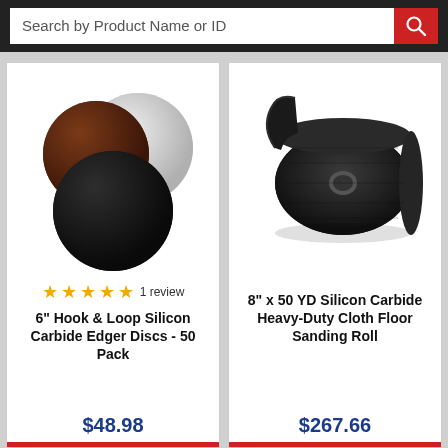Search by Product Name or ID
[Figure (photo): Three sanding discs stacked: dark black disc in front, dark brown disc behind left, white/grey disc behind right]
★★★★★ 1 review
6" Hook & Loop Silicon Carbide Edger Discs - 50 Pack
$48.98
[Figure (photo): A roll of black silicon carbide heavy-duty cloth floor sanding material]
8" x 50 YD Silicon Carbide Heavy-Duty Cloth Floor Sanding Roll
$267.66